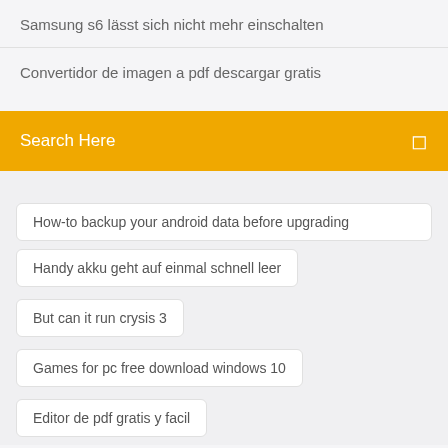Samsung s6 lässt sich nicht mehr einschalten
Convertidor de imagen a pdf descargar gratis
Search Here
How-to backup your android data before upgrading
Handy akku geht auf einmal schnell leer
But can it run crysis 3
Games for pc free download windows 10
Editor de pdf gratis y facil